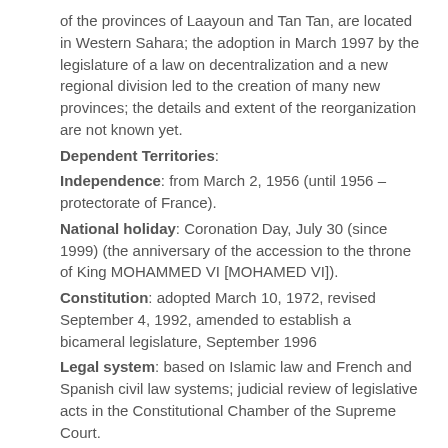of the provinces of Laayoun and Tan Tan, are located in Western Sahara; the adoption in March 1997 by the legislature of a law on decentralization and a new regional division led to the creation of many new provinces; the details and extent of the reorganization are not known yet.
Dependent Territories:
Independence: from March 2, 1956 (until 1956 – protectorate of France).
National holiday: Coronation Day, July 30 (since 1999) (the anniversary of the accession to the throne of King MOHAMMED VI [MOHAMED VI]).
Constitution: adopted March 10, 1972, revised September 4, 1992, amended to establish a bicameral legislature, September 1996
Legal system: based on Islamic law and French and Spanish civil law systems; judicial review of legislative acts in the Constitutional Chamber of the Supreme Court.
Suffrage: from 21 years old; universal.
chief of state: King MOHAMMED VI (since 23 July 1999)
head of the government: Prime Minister Abderrahmane YOUSSOUFI (since 14 March 1998);
Government: council of ministers appointed by the monarch;